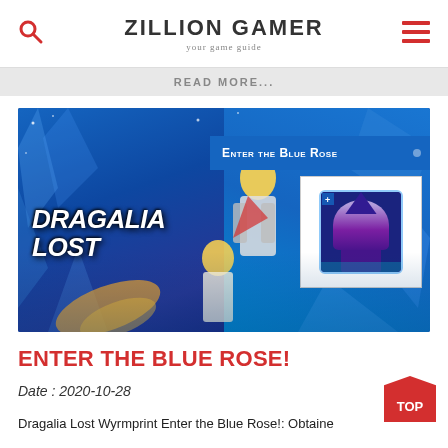ZILLION GAMER
your game guide
READ MORE...
[Figure (screenshot): Dragalia Lost game promotional image for Enter the Blue Rose event, showing characters and game logo on a blue crystal background with a character portrait icon]
ENTER THE BLUE ROSE!
Date : 2020-10-28
Dragalia Lost Wyrmprint Enter the Blue Rose!: Obtaine